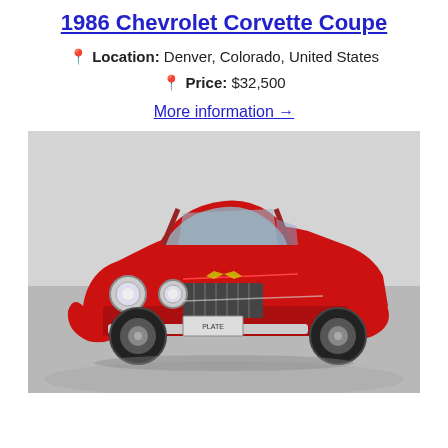1986 Chevrolet Corvette Coupe
📍 Location: Denver, Colorado, United States
📍 Price: $32,500
More information →
[Figure (photo): Red classic car (vintage Chevrolet sedan, hot rod style) photographed on a showroom floor with gray background. The car is bright red with chrome details, round headlights, and chrome front bumper.]